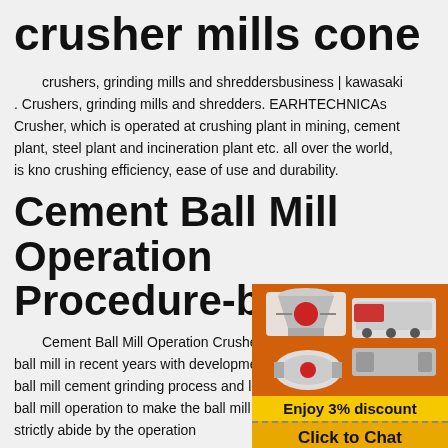crusher mills cone
crushers, grinding mills and shreddersbusiness | kawasaki . Crushers, grinding mills and shredders. EARHTECHNICAs Crusher, which is operated at crushing plant in mining, cement plant, steel plant and incineration plant etc. all over the world, is known for crushing efficiency, ease of use and durability.
Cement Ball Mill Operation Procedure-ball M
[Figure (illustration): Advertisement panel with orange background showing industrial crusher/mill machinery images, discount offer 'Enjoy 3% discount', 'Click to Chat' button, 'Enquiry' link, and email contact limingjlmofen@sina.com]
Cement Ball Mill Operation Crusher Mills Crusher, Cement ball mill in recent years with development and wide application of ball mill cement grinding process and level of operation are greatly ball mill operation to make the ball mill operate good we must strictly abide by the operation